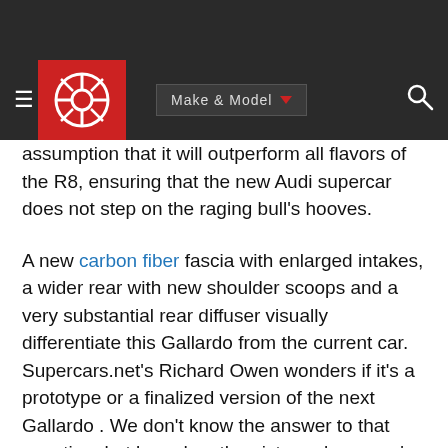Make & Model navigation bar with logo
assumption that it will outperform all flavors of the R8, ensuring that the new Audi supercar does not step on the raging bull's hooves.
A new carbon fiber fascia with enlarged intakes, a wider rear with new shoulder scoops and a very substantial rear diffuser visually differentiate this Gallardo from the current car. Supercars.net's Richard Owen wonders if it's a prototype or a finalized version of the next Gallardo . We don't know the answer to that question, but based on the picture above, we're inclined to lean toward the latter.
The car in the photo looks very complete and well-finished. If it turns up on this season's show circuit, we wouldn't be the least bit surprised. The only question we're left with is